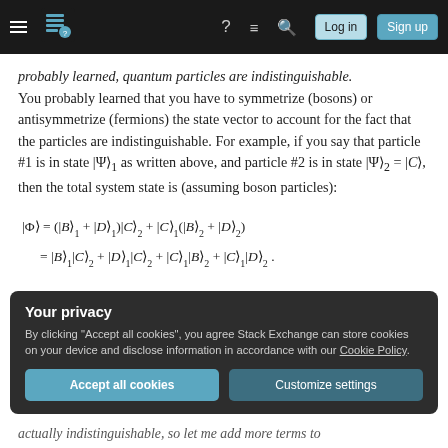Navigation bar with hamburger menu, logo, icons, Log in and Sign up buttons
probably learned, quantum particles are indistinguishable. You probably learned that you have to symmetrize (bosons) or antisymmetrize (fermions) the state vector to account for the fact that the particles are indistinguishable. For example, if you say that particle #1 is in state |Ψ⟩₁ as written above, and particle #2 is in state |Ψ⟩₂ = |C⟩, then the total system state is (assuming boson particles):
Your privacy — By clicking "Accept all cookies", you agree Stack Exchange can store cookies on your device and disclose information in accordance with our Cookie Policy. [Accept all cookies] [Customize settings]
actually indistinguishable, so let me add more terms to